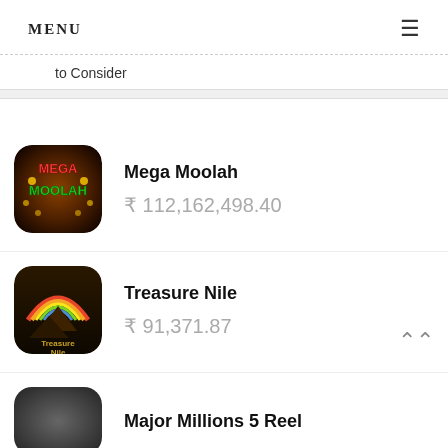MENU ≡
to Consider
Mega Moolah
₹ 112,162,498.40
Treasure Nile
₹ 91,371.87
Major Millions 5 Reel